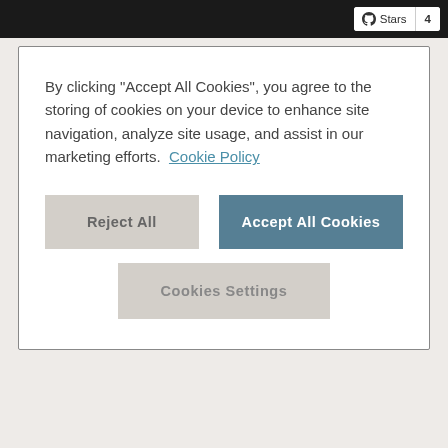[Figure (screenshot): Top navigation bar (dark/black background) with GitHub Stars button showing count of 4 in top-right corner]
By clicking "Accept All Cookies", you agree to the storing of cookies on your device to enhance site navigation, analyze site usage, and assist in our marketing efforts.  Cookie Policy
[Figure (screenshot): Cookie consent modal with Reject All button (gray), Accept All Cookies button (teal/blue), and Cookies Settings button (gray)]